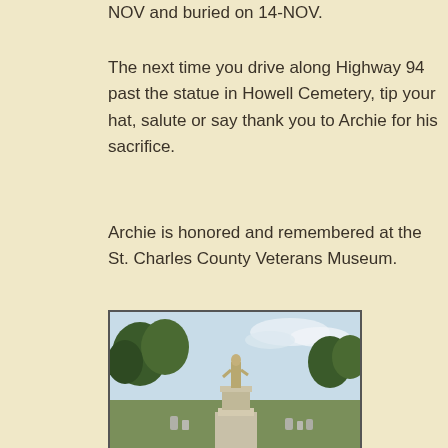NOV and buried on 14-NOV.
The next time you drive along Highway 94 past the statue in Howell Cemetery, tip your hat, salute or say thank you to Archie for his sacrifice.
Archie is honored and remembered at the St. Charles County Veterans Museum.
[Figure (photo): A soldier statue on a tall pedestal in a cemetery, with trees in the background and grave markers visible on the lawn.]